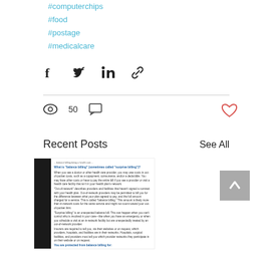#computerchips
#food
#postage
#medicalcare
[Figure (other): Social share icons: Facebook, Twitter, LinkedIn, link/chain]
50 views, comment icon, heart/like icon
Recent Posts
See All
[Figure (screenshot): Thumbnail of a document page about balance billing / surprise billing insurance notice, with bold blue heading 'What is balance billing (sometimes called surprise billing)?' and body text about out-of-network providers and patient protections. Also shows 'You are protected from balance billing for:' at the bottom.]